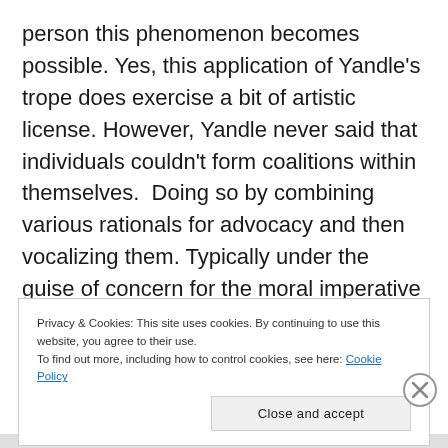person this phenomenon becomes possible. Yes, this application of Yandle's trope does exercise a bit of artistic license. However, Yandle never said that individuals couldn't form coalitions within themselves.  Doing so by combining various rationals for advocacy and then vocalizing them. Typically under the guise of concern for the moral imperative of the situation.
Privacy & Cookies: This site uses cookies. By continuing to use this website, you agree to their use.
To find out more, including how to control cookies, see here: Cookie Policy
Close and accept